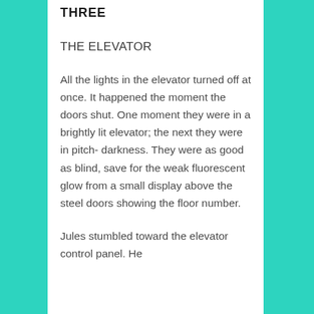THREE
THE ELEVATOR
All the lights in the elevator turned off at once. It happened the moment the doors shut. One moment they were in a brightly lit elevator; the next they were in pitch- darkness. They were as good as blind, save for the weak fluorescent glow from a small display above the steel doors showing the floor number.
Jules stumbled toward the elevator control panel. He